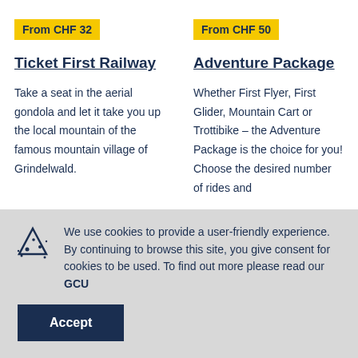From CHF 32
Ticket First Railway
Take a seat in the aerial gondola and let it take you up the local mountain of the famous mountain village of Grindelwald.
From CHF 50
Adventure Package
Whether First Flyer, First Glider, Mountain Cart or Trottibike – the Adventure Package is the choice for you! Choose the desired number of rides and
We use cookies to provide a user-friendly experience. By continuing to browse this site, you give consent for cookies to be used. To find out more please read our GCU
Accept